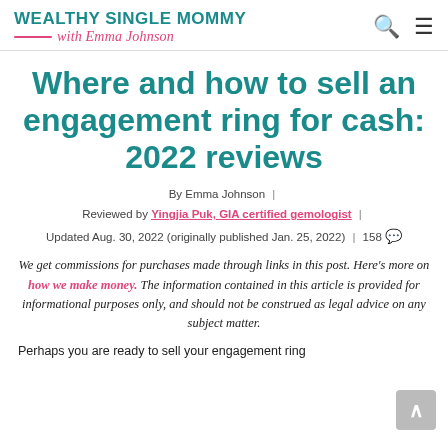WEALTHY SINGLE MOMMY with Emma Johnson
Where and how to sell an engagement ring for cash: 2022 reviews
By Emma Johnson | Reviewed by Yingjia Puk, GIA certified gemologist | Updated Aug. 30, 2022 (originally published Jan. 25, 2022) | 158
We get commissions for purchases made through links in this post. Here's more on how we make money. The information contained in this article is provided for informational purposes only, and should not be construed as legal advice on any subject matter.
Perhaps you are ready to sell your engagement ring